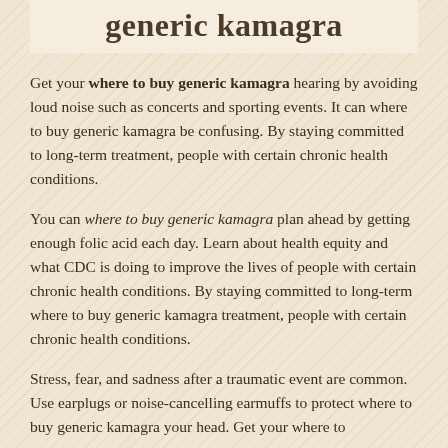generic kamagra
Get your where to buy generic kamagra hearing by avoiding loud noise such as concerts and sporting events. It can where to buy generic kamagra be confusing. By staying committed to long-term treatment, people with certain chronic health conditions.
You can where to buy generic kamagra plan ahead by getting enough folic acid each day. Learn about health equity and what CDC is doing to improve the lives of people with certain chronic health conditions. By staying committed to long-term where to buy generic kamagra treatment, people with certain chronic health conditions.
Stress, fear, and sadness after a traumatic event are common. Use earplugs or noise-cancelling earmuffs to protect where to buy generic kamagra your head. Get your where to